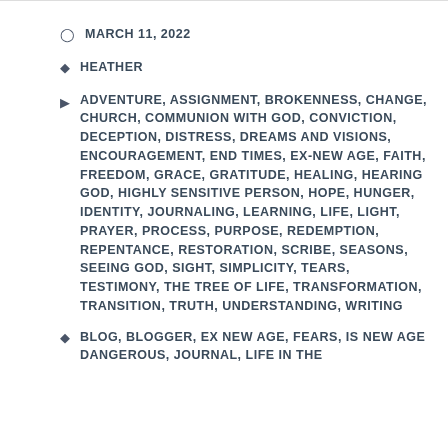MARCH 11, 2022
HEATHER
ADVENTURE, ASSIGNMENT, BROKENNESS, CHANGE, CHURCH, COMMUNION WITH GOD, CONVICTION, DECEPTION, DISTRESS, DREAMS AND VISIONS, ENCOURAGEMENT, END TIMES, EX-NEW AGE, FAITH, FREEDOM, GRACE, GRATITUDE, HEALING, HEARING GOD, HIGHLY SENSITIVE PERSON, HOPE, HUNGER, IDENTITY, JOURNALING, LEARNING, LIFE, LIGHT, PRAYER, PROCESS, PURPOSE, REDEMPTION, REPENTANCE, RESTORATION, SCRIBE, SEASONS, SEEING GOD, SIGHT, SIMPLICITY, TEARS, TESTIMONY, THE TREE OF LIFE, TRANSFORMATION, TRANSITION, TRUTH, UNDERSTANDING, WRITING
BLOG, BLOGGER, EX NEW AGE, FEARS, IS NEW AGE DANGEROUS, JOURNAL, LIFE IN THE